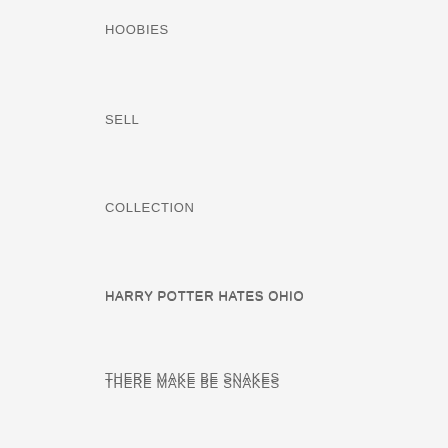HOOBIES
SELL
COLLECTION
HARRY POTTER HATES OHIO
THERE MAKE BE SNAKES
DADDY MUGS
GIFTS
CAMPAIGNS
INFORMATION
ABOUT US
SHIPPING INFORMATION